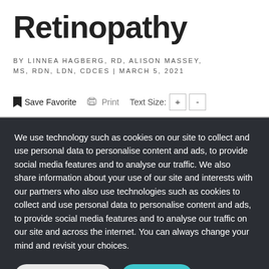Retinopathy
BY LINNEA HAGBERG, RD, ALISON MASSEY, MS, RDN, LDN, CDCES | MARCH 5, 2021
Save Favorite  Print  Text Size: + -
We use technology such as cookies on our site to collect and use personal data to personalise content and ads, to provide social media features and to analyse our traffic. We also share information about your use of our site and interests with our partners who also use technologies such as cookies to collect and use personal data to personalise content and ads, to provide social media features and to analyse our traffic on our site and across the internet. You can always change your mind and revisit your choices.
Manage Options  I Accept